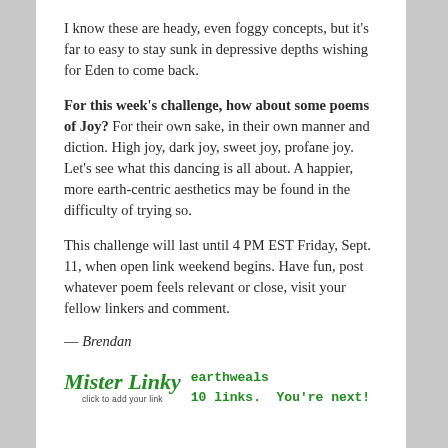I know these are heady, even foggy concepts, but it's far to easy to stay sunk in depressive depths wishing for Eden to come back.
For this week's challenge, how about some poems of Joy? For their own sake, in their own manner and diction. High joy, dark joy, sweet joy, profane joy. Let's see what this dancing is all about. A happier, more earth-centric aesthetics may be found in the difficulty of trying so.
This challenge will last until 4 PM EST Friday, Sept. 11, when open link weekend begins. Have fun, post whatever poem feels relevant or close, visit your fellow linkers and comment.
— Brendan
[Figure (logo): Mister Linky logo with cursive green script and 'click to add your link' caption, alongside green monospace text reading 'earthweals 10 links. You're next!']